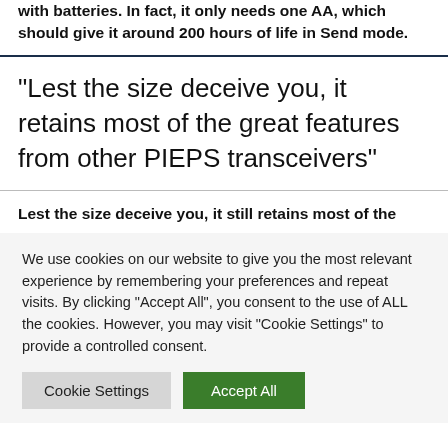with batteries. In fact, it only needs one AA, which should give it around 200 hours of life in Send mode.
“Lest the size deceive you, it retains most of the great features from other PIEPS transceivers”
Lest the size deceive you, it still retains most of the
We use cookies on our website to give you the most relevant experience by remembering your preferences and repeat visits. By clicking “Accept All”, you consent to the use of ALL the cookies. However, you may visit "Cookie Settings" to provide a controlled consent.
Cookie Settings | Accept All